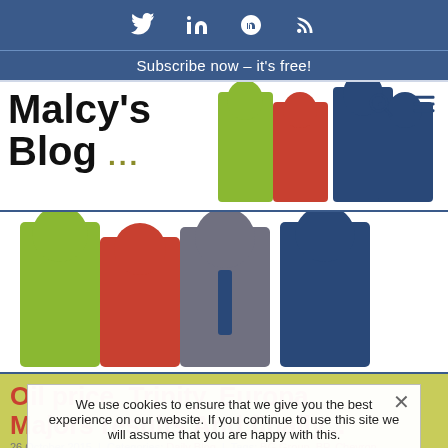Social icons: Twitter, LinkedIn, Skype, RSS
Subscribe now – it's free!
[Figure (logo): Malcy's Blog logo with colorized illustration of businessmen in green, red, and blue]
[Figure (illustration): Large colorized pop-art style illustration of businessmen walking, in green, red and blue]
Oil price, Trinity, Europa, Majors results And finally...
We use cookies to ensure that we give you the best experience on our website. If you continue to use this site we will assume that you are happy with this.
26 October 2015 | Categories: Daily Blog | Tags: BG Group, BP, Chevron, ConocoPhillips, Eni, Europa Oil & Gas, Exxon Mobil, Royal Dutch Shell, Total, Trinity Exploration & Production | 0 Comments